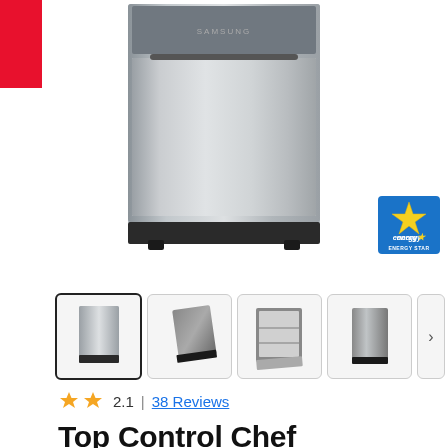[Figure (photo): Main product image of Samsung stainless steel top-control dishwasher, front view, on white background. Red badge in top-left corner.]
[Figure (logo): Energy Star certification badge, blue and teal with star icon and 'ENERGY STAR' text]
[Figure (photo): Four product thumbnail images: (1) front view stainless steel dishwasher (selected), (2) angled view dishwasher, (3) open door interior view, (4) side angled view. Navigation arrow on right.]
2.1  |  38 Reviews
Top Control Chef Collection Dishwasher